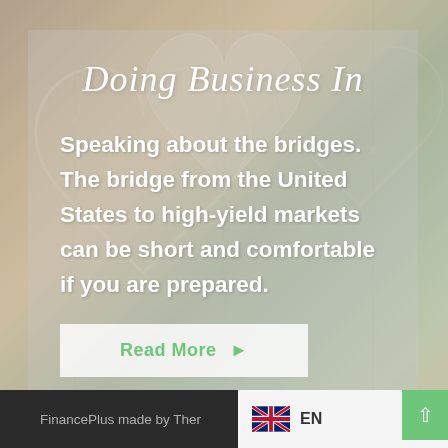[Figure (photo): Background photo of decorative wooden heart shapes hanging, with warm muted tones and a soft-focus bokeh effect. Overlay panel with semi-transparent grey background.]
Doing Business In
Speaking about the bridges. The bridge from the United States to high-yield markets can be short and comfortable if you are prepared.
Read More ▶
FinancePlus made by Ther... EN >